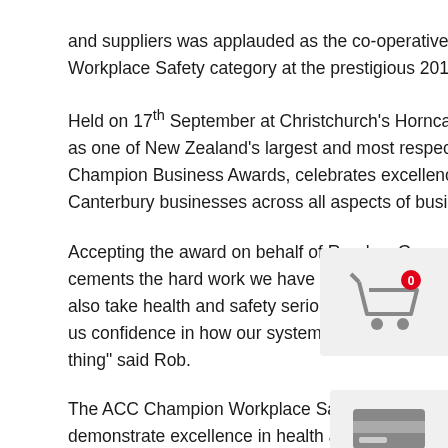and suppliers was applauded as the co-operative was named winner of the ACC Champion Workplace Safety category at the prestigious 2019 Westpac Champion Business Awards.
Held on 17th September at Christchurch's Horncastle Arena, the awards are widely recognised as one of New Zealand's largest and most respected business honours. The Westpac Champion Business Awards, celebrates excellence, innovation, growth and the success of Canterbury businesses across all aspects of business.
Accepting the award on behalf of Ruralco, Group CEO Rob Shark delighted, "this award cements the hard work we have undertaken it puts Ruralco with a group of businesses who also take health and safety seriously. The process of striving to achieve this award has given us confidence in how our systems function. This is recognised our people are doing the right thing" said Rob.
The ACC Champion Workplace Safety Award is the category which honours businesses which demonstrate excellence in health and systems and procedures. These businesses create a platform for health and safety to be owned by all who engage with them, helping